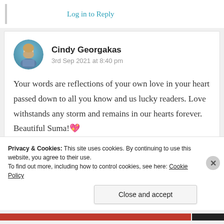Log in to Reply
Cindy Georgakas
3rd Sep 2021 at 8:40 pm
Your words are reflections of your own love in your heart passed down to all you know and us lucky readers. Love withstands any storm and remains in our hearts forever. Beautiful Suma! 💖
Privacy & Cookies: This site uses cookies. By continuing to use this website, you agree to their use.
To find out more, including how to control cookies, see here: Cookie Policy
Close and accept